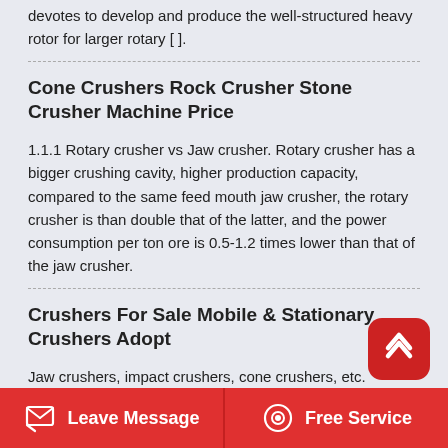devotes to develop and produce the well-structured heavy rotor for larger rotary [ ].
Cone Crushers Rock Crusher Stone Crusher Machine Price
1.1.1 Rotary crusher vs Jaw crusher. Rotary crusher has a bigger crushing cavity, higher production capacity, compared to the same feed mouth jaw crusher, the rotary crusher is than double that of the latter, and the power consumption per ton ore is 0.5-1.2 times lower than that of the jaw crusher.
Crushers For Sale Mobile & Stationary Crushers Adopt
Jaw crushers, impact crushers, cone crushers, etc. individual fixed crushers or the complete stone crushing production lines are all available. Mobile crushing plant, screening equipment, vibrating feeders, sand making and washing machine,
Leave Message   Free Service